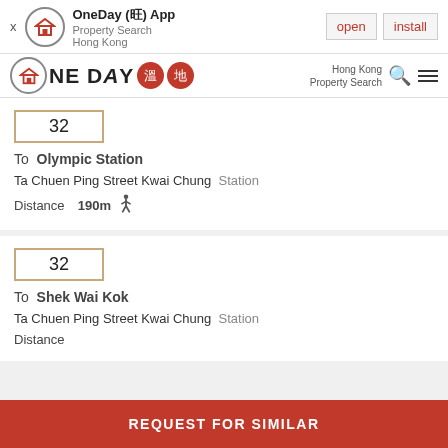OneDay (旺) App — Property Search Hong Kong — open | install
OneDay 溫地 — Hong Kong Property Search
32
To Olympic Station
Ta Chuen Ping Street Kwai Chung Station
Distance 190m
32
To Shek Wai Kok
Ta Chuen Ping Street Kwai Chung Station
REQUEST FOR SIMILAR